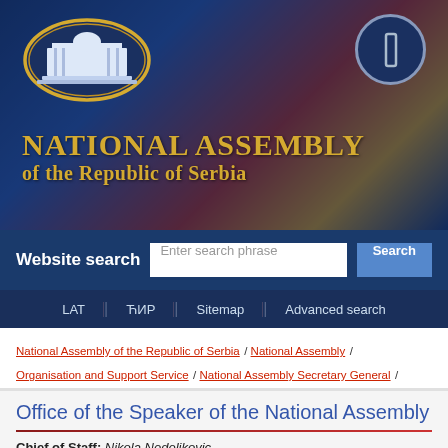[Figure (logo): National Assembly of the Republic of Serbia logo — building in gold oval, header banner with Serbian flag colors]
National Assembly of the Republic of Serbia
Website search | Enter search phrase | Search
LAT | ЋИР | Sitemap | Advanced search
National Assembly of the Republic of Serbia / National Assembly / Organisation and Support Service / National Assembly Secretary General / Office of the Speaker of the National Assembly
Office of the Speaker of the National Assembly
Chief of Staff: Nikola Nedeljkovic
contact telephone: 011/3026-100